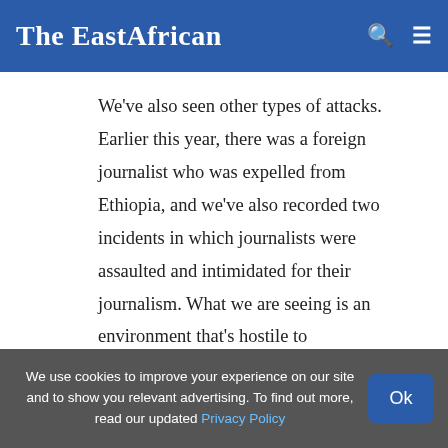The EastAfrican
We've also seen other types of attacks. Earlier this year, there was a foreign journalist who was expelled from Ethiopia, and we've also recorded two incidents in which journalists were assaulted and intimidated for their journalism. What we are seeing is an environment that's hostile to independent journalism," she added.

The crisis in Tigray has not been good for media
We use cookies to improve your experience on our site and to show you relevant advertising. To find out more, read our updated Privacy Policy